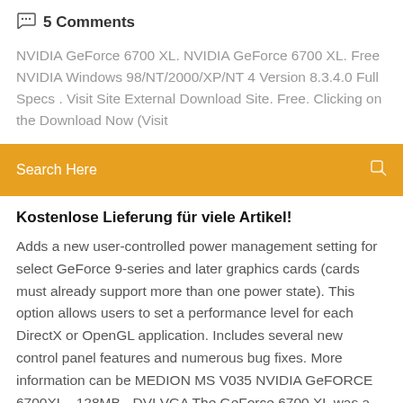💬 5 Comments
NVIDIA GeForce 6700 XL. NVIDIA GeForce 6700 XL. Free NVIDIA Windows 98/NT/2000/XP/NT 4 Version 8.3.4.0 Full Specs . Visit Site External Download Site. Free. Clicking on the Download Now (Visit
[Figure (other): Orange search bar with text 'Search Here' and a search icon on the right]
Kostenlose Lieferung für viele Artikel!
Adds a new user-controlled power management setting for select GeForce 9-series and later graphics cards (cards must already support more than one power state). This option allows users to set a performance level for each DirectX or OpenGL application. Includes several new control panel features and numerous bug fixes. More information can be MEDION MS V035 NVIDIA GeFORCE 6700XL - 128MB - DVI VGA The GeForce 6700 XL was a graphics card by NVIDIA, launched in